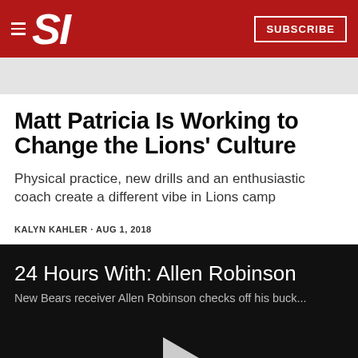SI  SUBSCRIBE
Matt Patricia Is Working to Change the Lions' Culture
Physical practice, new drills and an enthusiastic coach create a different vibe in Lions camp
KALYN KAHLER · AUG 1, 2018
24 Hours With: Allen Robinson
New Bears receiver Allen Robinson checks off his buck...